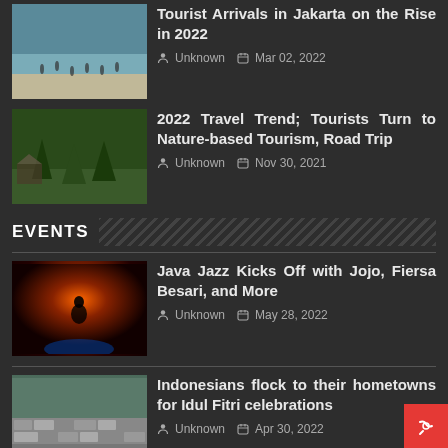[Figure (photo): Beach scene with people walking on sandy shoreline]
Tourist Arrivals in Jakarta on the Rise in 2022
Unknown  Mar 02, 2022
[Figure (photo): Forest or nature area with trees and a structure]
2022 Travel Trend: Tourists Turn to Nature-based Tourism, Road Trip
Unknown  Nov 30, 2021
EVENTS
[Figure (photo): Concert performer on stage with red/orange stage lighting]
Java Jazz Kicks Off with Jojo, Fiersa Besari, and More
Unknown  May 28, 2022
[Figure (photo): Crowd or stone/brick texture related to Idul Fitri travel]
Indonesians flock to their hometowns for Idul Fitri celebrations
Unknown  Apr 30, 2022
[Figure (photo): Bowl of traditional Indonesian food, Ramadan dish]
9 Iconic Ramadan Dishes from Various Regions in Indonesia